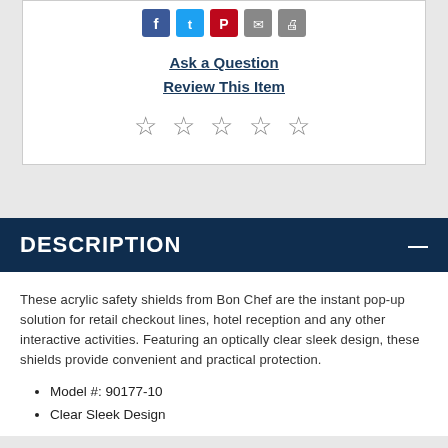[Figure (other): Social media sharing icons: Facebook, Twitter, Pinterest, Email, Print]
Ask a Question
Review This Item
[Figure (other): Five empty star rating icons]
DESCRIPTION
These acrylic safety shields from Bon Chef are the instant pop-up solution for retail checkout lines, hotel reception and any other interactive activities. Featuring an optically clear sleek design, these shields provide convenient and practical protection.
Model #: 90177-10
Clear Sleek Design